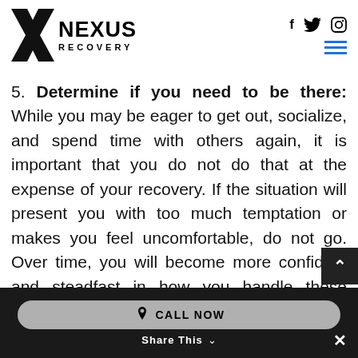Nexus Recovery — social icons (f, twitter, instagram), hamburger menu
5. Determine if you need to be there: While you may be eager to get out, socialize, and spend time with others again, it is important that you do not do that at the expense of your recovery. If the situation will present you with too much temptation or makes you feel uncomfortable, do not go. Over time, you will become more confident and steadfast in how you handle these situations, but it is best not to rush yourself into these situations if you are
CALL NOW | Share This